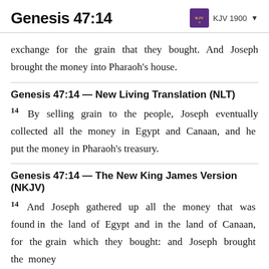Genesis 47:14 — KJV 1900
exchange for the grain that they bought. And Joseph brought the money into Pharaoh's house.
Genesis 47:14 — New Living Translation (NLT)
14 By selling grain to the people, Joseph eventually collected all the money in Egypt and Canaan, and he put the money in Pharaoh's treasury.
Genesis 47:14 — The New King James Version (NKJV)
14 And Joseph gathered up all the money that was found in the land of Egypt and in the land of Canaan, for the grain which they bought: and Joseph brought the money